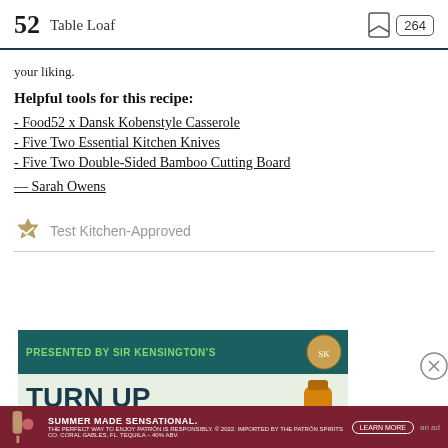52  Table Loaf
your liking.
Helpful tools for this recipe:
- Food52 x Dansk Kobenstyle Casserole
- Five Two Essential Kitchen Knives
- Five Two Double-Sided Bamboo Cutting Board
— Sarah Owens
Test Kitchen-Approved
[Figure (other): Advertisement banner: Presented by Sir Kensington's - Turn Up, with Patrón spirits bar at bottom]